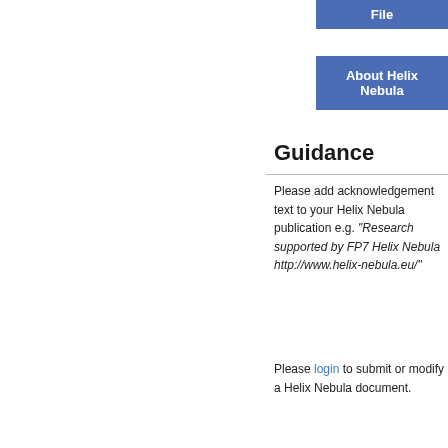[Figure (other): Blue button labeled 'File' in top right area]
[Figure (other): Blue button labeled 'About Helix Nebula']
Guidance
Please add acknowledgement text to your Helix Nebula publication e.g. "Research supported by FP7 Helix Nebula http://www.helix-nebula.eu/"
Please login to submit or modify a Helix Nebula document.